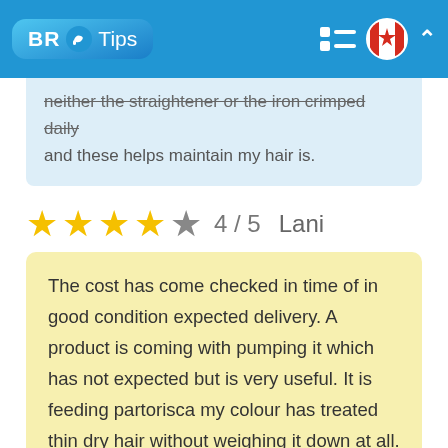BR Tips
neither the straightener or the iron crimped daily and these helps maintain my hair is.
★★★★☆ 4 / 5   Lani
The cost has come checked in time of in good condition expected delivery. A product is coming with pumping it which has not expected but is very useful. It is feeding partorisca my colour has treated thin dry hair without weighing it down at all. They are in general very happy with this product and would repurchase.